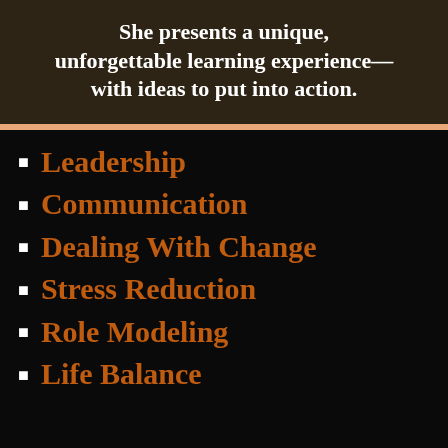She presents a unique, unforgettable learning experience—with ideas to put into action.
Leadership
Communication
Dealing With Change
Stress Reduction
Role Modeling
Life Balance
Cheewa's Native American heritage adds a touch of cultural diversity to her cutting-edge information and